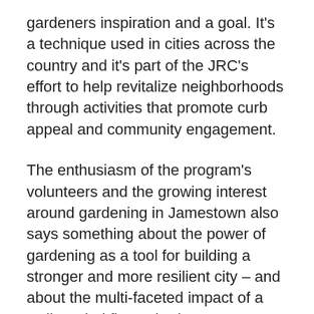gardeners inspiration and a goal. It's a technique used in cities across the country and it's part of the JRC's effort to help revitalize neighborhoods through activities that promote curb appeal and community engagement.
The enthusiasm of the program's volunteers and the growing interest around gardening in Jamestown also says something about the power of gardening as a tool for building a stronger and more resilient city – and about the multi-faceted impact of a well-tended flower bed.
For example, it's increasingly clear that gardening has a collective impact despite being a largely solitary activity. A nice garden satisfies